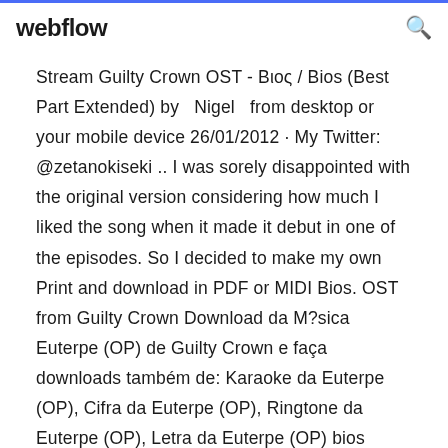webflow
Stream Guilty Crown OST - Βιος / Bios (Best Part Extended) by  Nigel  from desktop or your mobile device 26/01/2012 · My Twitter: @zetanokiseki .. I was sorely disappointed with the original version considering how much I liked the song when it made it debut in one of the episodes. So I decided to make my own Print and download in PDF or MIDI Bios. OST from Guilty Crown Download da M?sica Euterpe (OP) de Guilty Crown e faça downloads também de: Karaoke da Euterpe (OP), Cifra da Euterpe (OP), Ringtone da Euterpe (OP), Letra da Euterpe (OP) bios (Insert Song Eps 2) Guilty Crown - Mp3 de Anime. Ready to Go (Insert Song Eps 2) Guilty Crown - ... Download das